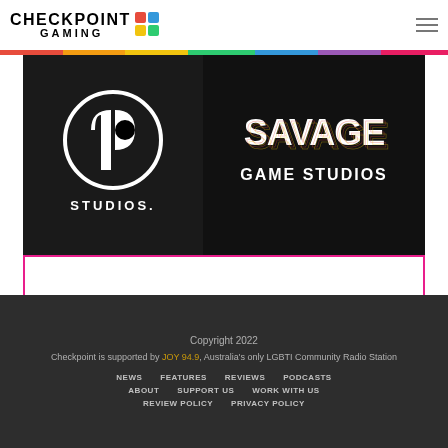[Figure (logo): Checkpoint Gaming logo with colorful diamond/square icon]
[Figure (photo): PlayStation Studios and Savage Game Studios logos on black background]
Sony acquires mobile developer Savage Game Studios
Copyright 2022
Checkpoint is supported by JOY 94.9, Australia's only LGBTI Community Radio Station
NEWS  FEATURES  REVIEWS  PODCASTS
ABOUT  SUPPORT US  WORK WITH US
REVIEW POLICY  PRIVACY POLICY